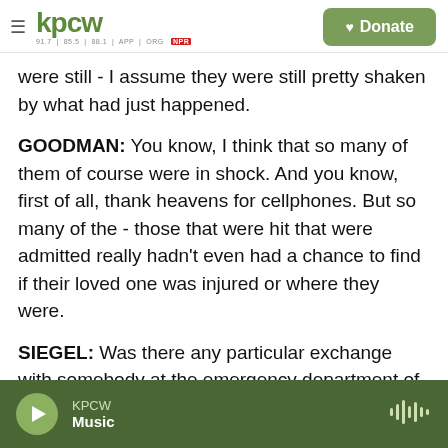kpcw | Donate
were still - I assume they were still pretty shaken by what had just happened.
GOODMAN: You know, I think that so many of them of course were in shock. And you know, first of all, thank heavens for cellphones. But so many of the - those that were hit that were admitted really hadn't even had a chance to find if their loved one was injured or where they were.
SIEGEL: Was there any particular exchange with somebody at the emergency department of the hospital that sticks with you especially today?
KPCW Music